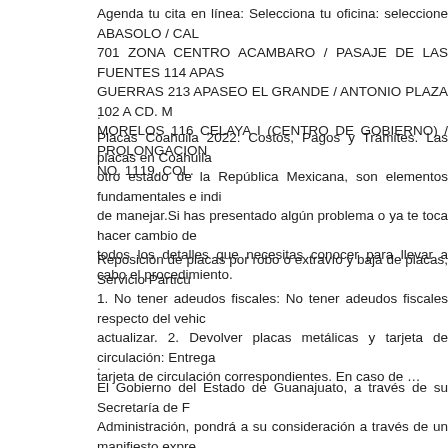Agenda tu cita en línea: Selecciona tu oficina: seleccione ABASOLO / CAL 701 ZONA CENTRO ACAMBARO / PASAJE DE LAS FUENTES 114 APAS GUERRAS 213 APASEO EL GRANDE / ANTONIO PLAZA 102 A CD. M MORELOS 116 CELAYA I (CENTRO DE GOBIERNO) / PROLONGACION NO. 1119, COL.
.
Placas Coahuila 2022: Costos, Pagos y Trámites. Las placas en Coahuila otro estado de la República Mexicana, son elementos fundamentales e indi de manejar.Si has presentado algún problema o ya te toca hacer cambio de todos los detalles que necesitas conocer para llevar a cabo el procedimiento.
.
Reposición de placas por robo o extravío y baja de placas, Servicio Particu 1. No tener adeudos fiscales: No tener adeudos fiscales respecto del vehic actualizar. 2. Devolver placas metálicas y tarjeta de circulación: Entrega tarjeta de circulación correspondientes. En caso de …
.
El Gobierno del Estado de Guanajuato, a través de su Secretaría de F Administración, pondrá a su consideración a través de un manifiesto expre no de la transferencia de sus datos personales a otros sujetos obligados d